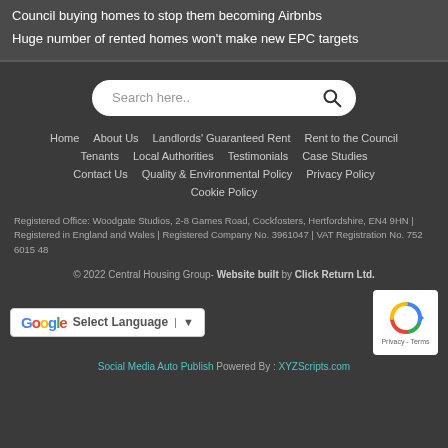Council buying homes to stop them becoming Airbnbs
Huge number of rented homes won't make new EPC targets
[Figure (other): Website search bar with placeholder 'Search here..' and a magnifying glass icon]
Home   About Us   Landlords' Guaranteed Rent   Rent to the Council   Tenants   Local Authorities   Testimonials   Case Studies   Contact Us   Quality & Environmental Policy   Privacy Policy   Cookie Policy
Registered Office: Woodgate Studios, 2-8 Games Road, Cockfosters, Hertfordshire, EN4 9HN | Registered in England and Wales | Registered Company No. 3961047 | VAT Registration No. 752 6015 48
© 2022 Central Housing Group- Website built by Click Return Ltd.
[Figure (other): Google Translate widget showing 'Select Language' with dropdown arrow]
[Figure (other): reCAPTCHA badge showing recycling arrow logo with 'Privacy - Terms' text]
Social Media Auto Publish Powered By : XYZScripts.com